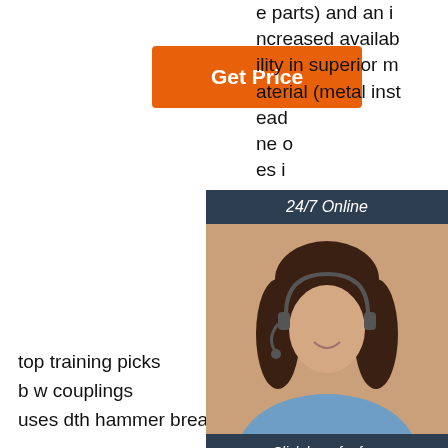[Figure (other): Orange 'Get Price' button]
e parts) and an increased availability in superior material (metal instead of one of es i ray g ..
[Figure (other): 24/7 Online chat overlay with woman wearing headset, 'Click here for free chat!' text, and QUOTATION button]
[Figure (logo): TOP logo with orange dots forming triangle above 'TOP' text in orange]
top training picks
b w couplings
uses dth hammer breakout bench